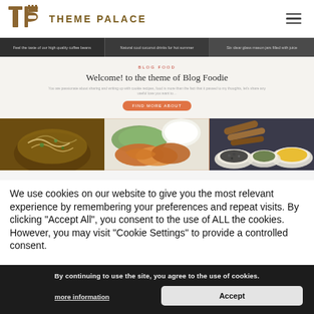[Figure (logo): Theme Palace logo with stylized TP icon and text THEME PALACE]
[Figure (screenshot): Website screenshot showing Theme Palace food blog theme with slider banner, hero section, and food photos]
We use cookies on our website to give you the most relevant experience by remembering your preferences and repeat visits. By clicking “Accept All”, you consent to the use of ALL the cookies. However, you may visit "Cookie Settings" to provide a controlled consent.
By continuing to use the site, you agree to the use of cookies.
more information
Accept